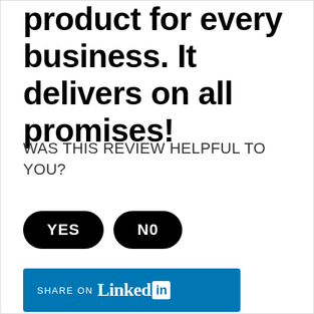product for every business. It delivers on all promises!
WAS THIS REVIEW HELPFUL TO YOU?
[Figure (other): Two black pill-shaped buttons labeled YES and NO]
[Figure (other): Blue LinkedIn Share button with text SHARE ON Linked[in logo]]